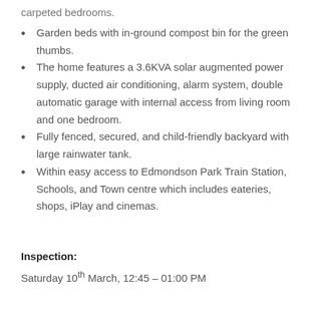carpeted bedrooms.
Garden beds with in-ground compost bin for the green thumbs.
The home features a 3.6KVA solar augmented power supply, ducted air conditioning, alarm system, double automatic garage with internal access from living room and one bedroom.
Fully fenced, secured, and child-friendly backyard with large rainwater tank.
Within easy access to Edmondson Park Train Station, Schools, and Town centre which includes eateries, shops, iPlay and cinemas.
Inspection:
Saturday 10th March, 12:45 – 01:00 PM